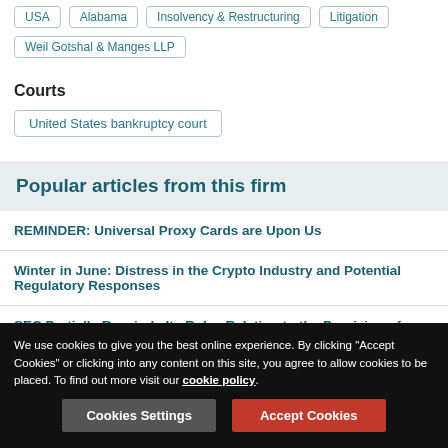USA | Alabama | Insolvency & Restructuring | Litigation
Weil Gotshal & Manges LLP
Courts
United States bankruptcy court
Popular articles from this firm
REMINDER: Universal Proxy Cards are Upon Us
Winter in June: Distress in the Crypto Industry and Potential Regulatory Responses
SEC Partially Rescinds Its Rules Relating to the Provision of Proxy Voting Advice
We use cookies to give you the best online experience. By clicking "Accept Cookies" or clicking into any content on this site, you agree to allow cookies to be placed. To find out more visit our cookie policy.